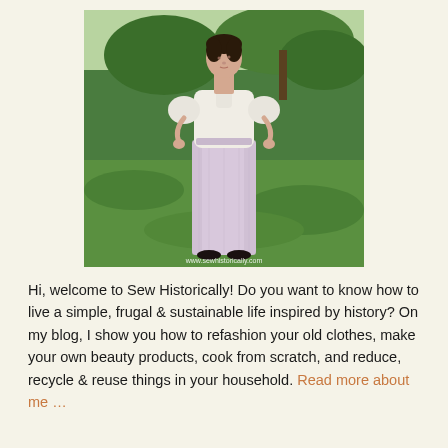[Figure (photo): A woman in a white blouse with puffed short sleeves and a long pale pink/lavender skirt standing outdoors with hands on hips, green grass and trees in the background. Watermark reads www.sewhistorically.com]
Hi, welcome to Sew Historically! Do you want to know how to live a simple, frugal & sustainable life inspired by history? On my blog, I show you how to refashion your old clothes, make your own beauty products, cook from scratch, and reduce, recycle & reuse things in your household. Read more about me …